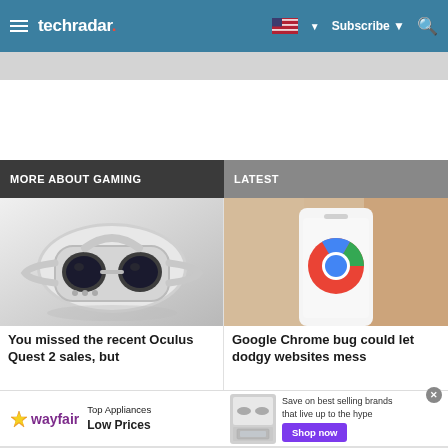techradar — Subscribe — Search
MORE ABOUT GAMING
LATEST
[Figure (photo): White Oculus Quest 2 VR headset on a light background]
You missed the recent Oculus Quest 2 sales, but
[Figure (photo): Hand holding smartphone displaying Google Chrome logo]
Google Chrome bug could let dodgy websites mess
[Figure (other): Wayfair advertisement banner: Top Appliances Low Prices, Save on best selling brands that live up to the hype, Shop now]